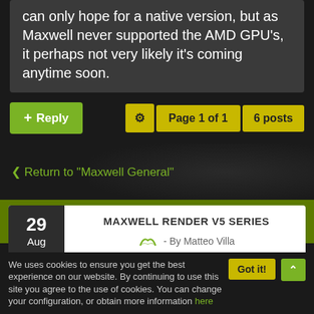can only hope for a native version, but as Maxwell never supported the AMD GPU's, it perhaps not very likely it's coming anytime soon.
+ Reply
Page 1 of 1   6 posts
< Return to "Maxwell General"
MAXWELL RENDER V5 SERIES
29 Aug
- By Matteo Villa
We uses cookies to ensure you get the best experience on our website. By continuing to use this site you agree to the use of cookies. You can change your configuration, or obtain more information here